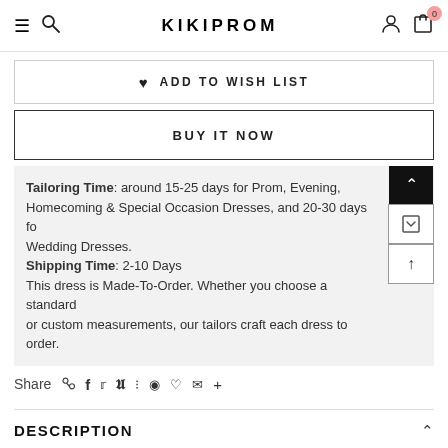KIKIPROM
ADD TO WISH LIST
BUY IT NOW
Tailoring Time: around 15-25 days for Prom, Evening, Homecoming & Special Occasion Dresses, and 20-30 days for Wedding Dresses. Shipping Time: 2-10 Days This dress is Made-To-Order. Whether you choose a standard or custom measurements, our tailors craft each dress to order.
Share
DESCRIPTION